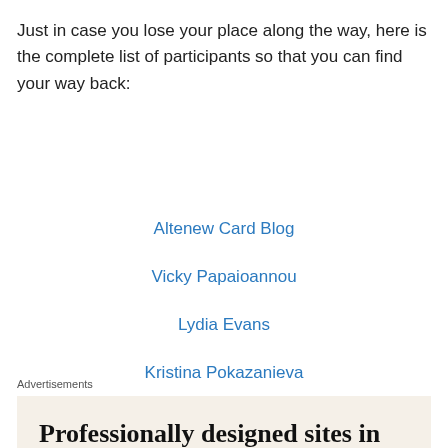Just in case you lose your place along the way, here is the complete list of participants so that you can find your way back:
Altenew Card Blog
Vicky Papaioannou
Lydia Evans
Kristina Pokazanieva
Advertisements
[Figure (other): Advertisement banner with beige background and text: Professionally designed sites in less than a week]